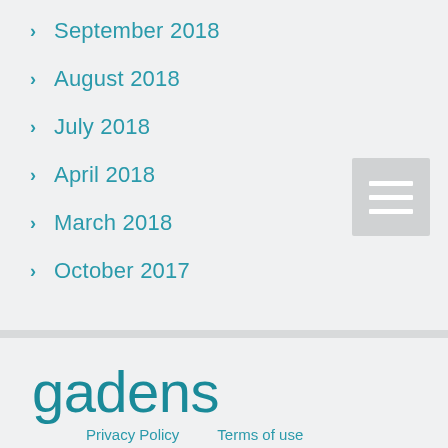September 2018
August 2018
July 2018
April 2018
March 2018
October 2017
[Figure (illustration): Hamburger menu icon — three horizontal white lines on a grey square background]
gadens
Privacy Policy    Terms of use